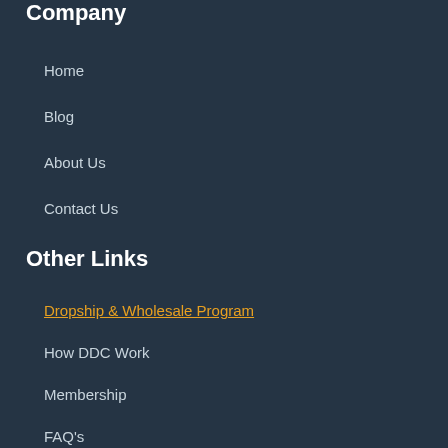Company
Home
Blog
About Us
Contact Us
Other Links
Dropship & Wholesale Program
How DDC Work
Membership
FAQ's
Dropshipping
Amazon FBA
Baby Products